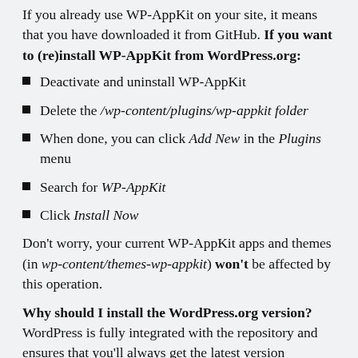If you already use WP-AppKit on your site, it means that you have downloaded it from GitHub. If you want to (re)install WP-AppKit from WordPress.org:
Deactivate and uninstall WP-AppKit
Delete the /wp-content/plugins/wp-appkit folder
When done, you can click Add New in the Plugins menu
Search for WP-AppKit
Click Install Now
Don't worry, your current WP-AppKit apps and themes (in wp-content/themes-wp-appkit) won't be affected by this operation.
Why should I install the WordPress.org version? WordPress is fully integrated with the repository and ensures that you'll always get the latest version update...